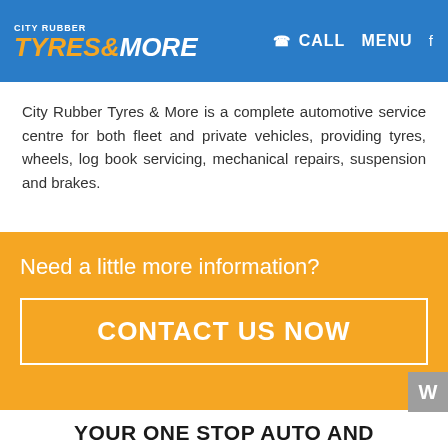CITY RUBBER TYRES & MORE | CALL MENU
City Rubber Tyres & More is a complete automotive service centre for both fleet and private vehicles, providing tyres, wheels, log book servicing, mechanical repairs, suspension and brakes.
Need a little more information?
CONTACT US NOW
YOUR ONE STOP AUTO AND TYRE SHOP IN COOPERS